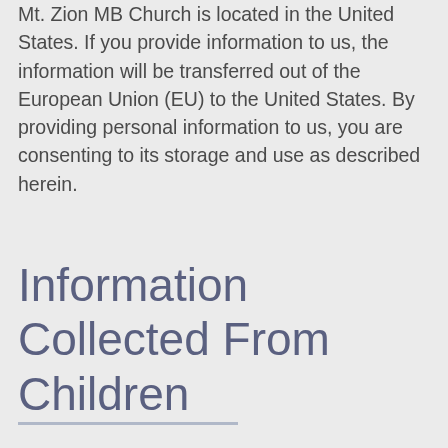Mt. Zion MB Church is located in the United States. If you provide information to us, the information will be transferred out of the European Union (EU) to the United States. By providing personal information to us, you are consenting to its storage and use as described herein.
Information Collected From Children